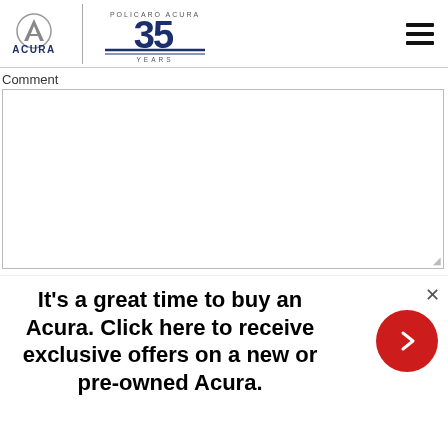[Figure (logo): Acura logo with circle and A symbol, text ACURA below, vertical divider, Policaro Acura 35 Years logo, hamburger menu icon top right]
Comment
It's a great time to buy an Acura. Click here to receive exclusive offers on a new or pre-owned Acura.